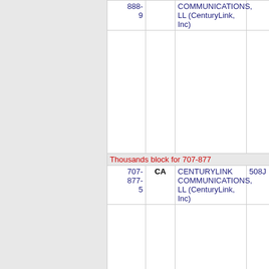| Number | State | Company | Code |
| --- | --- | --- | --- |
| 888-9 |  | COMMUNICATIONS, LL (CenturyLink, Inc) |  |
| Thousands block for 707-877 |  |  |  |
| 707-877-5 | CA | CENTURYLINK COMMUNICATIONS, LL (CenturyLink, Inc) | 508J |
| Thousands block for 707-881 |  |  |  |